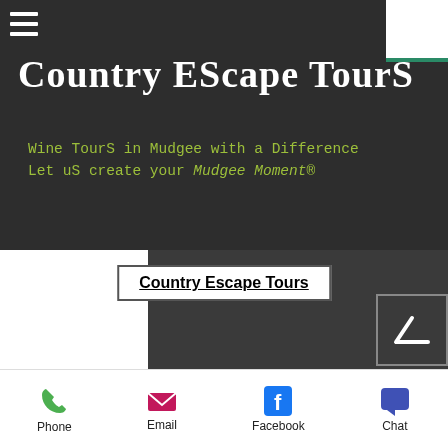Country Escape Tours
Wine Tours in Mudgee with a Difference
Let us create your Mudgee Moment®
Country Escape Tours
© 2019 by Country Escape Tours
Tour Operator in Mudgee NSW 2850
Phone  Email  Facebook  Chat